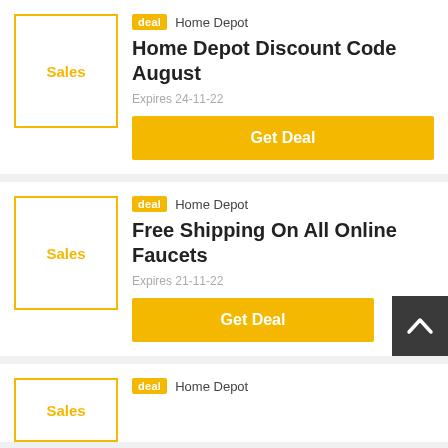[Figure (other): Deal card with Sales thumbnail box, deal badge, Home Depot store name, title, expiry and Get Deal button]
Home Depot Discount Code August
Expires 24-11-22
[Figure (other): Deal card with Sales thumbnail box, deal badge, Home Depot store name, title, expiry and Get Deal button]
Free Shipping On All Online Faucets
Expires 21-11-22
[Figure (other): Partial deal card with Sales thumbnail box, deal badge, Home Depot store name]